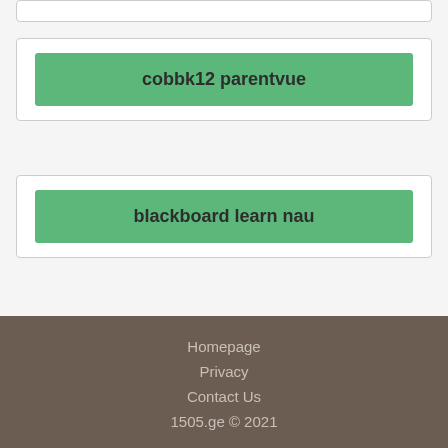cobbk12 parentvue
blackboard learn nau
Homepage
Privacy
Contact Us
1505.ge © 2021